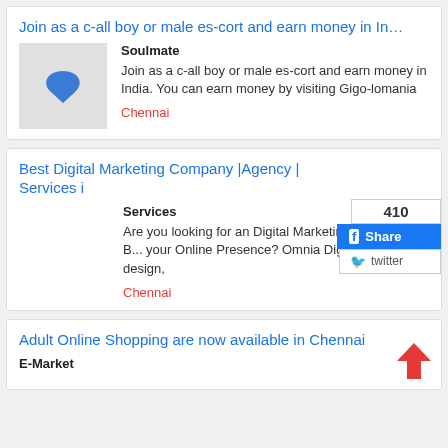Join as a c-all boy or male es-cort and earn money in In…
Soulmate
Join as a c-all boy or male es-cort and earn money in India. You can earn money by visiting Gigo-lomania
Chennai
Best Digital Marketing Company |Agency | Services i
Services
Are you looking for an Digital Marketing Agency to B... your Online Presence? Omnia Digital offers Web design,
Chennai
Adult Online Shopping are now available in Chennai
E-Market